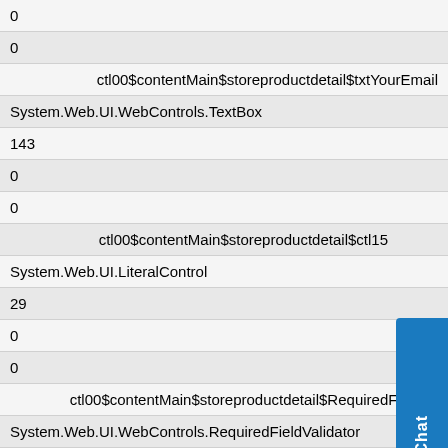| 0 |
| 0 |
| ctl00$contentMain$storeproductdetail$txtYourEmail |
| System.Web.UI.WebControls.TextBox |
| 143 |
| 0 |
| 0 |
| ctl00$contentMain$storeproductdetail$ctl15 |
| System.Web.UI.LiteralControl |
| 29 |
| 0 |
| 0 |
| ctl00$contentMain$storeproductdetail$RequiredFieldVa |
| System.Web.UI.WebControls.RequiredFieldValidator |
| 134 |